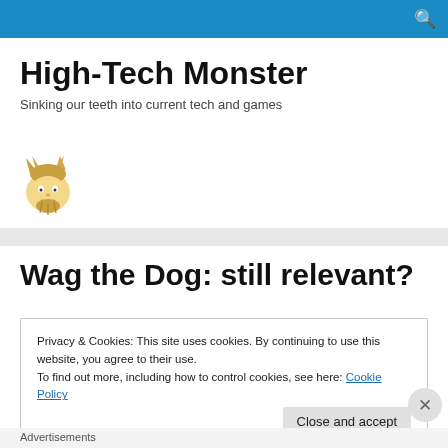High-Tech Monster
Sinking our teeth into current tech and games
[Figure (illustration): Monster character logo — cartoon face with horns and beard]
Wag the Dog: still relevant?
Privacy & Cookies: This site uses cookies. By continuing to use this website, you agree to their use.
To find out more, including how to control cookies, see here: Cookie Policy
Close and accept
Advertisements